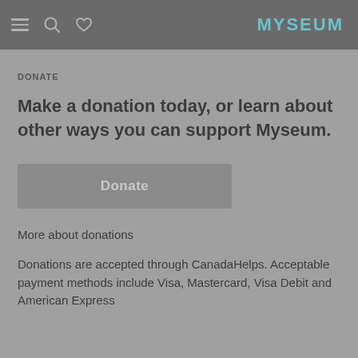MYSEUM
DONATE
Make a donation today, or learn about other ways you can support Myseum.
Donate
More about donations
Donations are accepted through CanadaHelps. Acceptable payment methods include Visa, Mastercard, Visa Debit and American Express